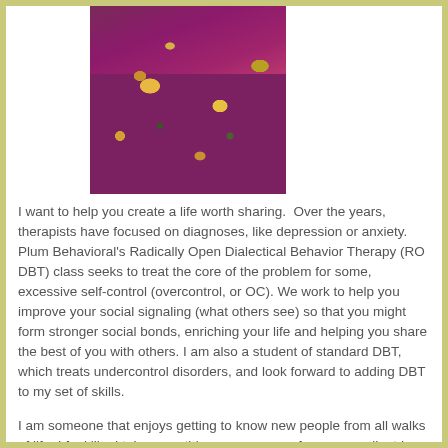[Figure (photo): A person wearing a purple/magenta floral blouse, cropped to show neck and chest area, photo positioned in upper center of page]
I want to help you create a life worth sharing.  Over the years, therapists have focused on diagnoses, like depression or anxiety. Plum Behavioral's Radically Open Dialectical Behavior Therapy (RO DBT) class seeks to treat the core of the problem for some, excessive self-control (overcontrol, or OC). We work to help you improve your social signaling (what others see) so that you might form stronger social bonds, enriching your life and helping you share the best of you with others. I am also a student of standard DBT, which treats undercontrol disorders, and look forward to adding DBT to my set of skills.
I am someone that enjoys getting to know new people from all walks of life. I feel like I take something person away from every client I meet. I find that building personal connections and helping others live their best lives gives me a sense of